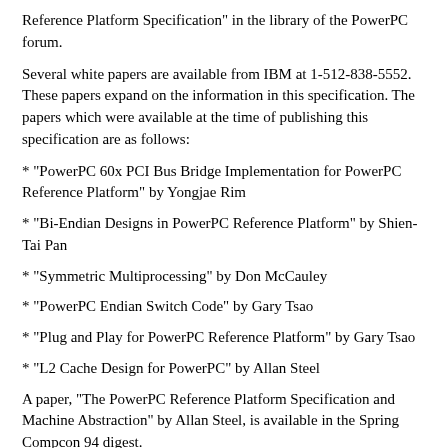Reference Platform Specification" in the library of the PowerPC forum.
Several white papers are available from IBM at 1-512-838-5552. These papers expand on the information in this specification. The papers which were available at the time of publishing this specification are as follows:
* "PowerPC 60x PCI Bus Bridge Implementation for PowerPC Reference Platform" by Yongjae Rim
* "Bi-Endian Designs in PowerPC Reference Platform" by Shien-Tai Pan
* "Symmetric Multiprocessing" by Don McCauley
* "PowerPC Endian Switch Code" by Gary Tsao
* "Plug and Play for PowerPC Reference Platform" by Gary Tsao
* "L2 Cache Design for PowerPC" by Allan Steel
A paper, "The PowerPC Reference Platform Specification and Machine Abstraction" by Allan Steel, is available in the Spring Compcon 94 digest.